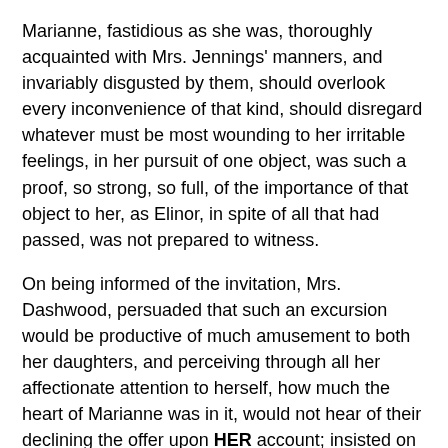Marianne, fastidious as she was, thoroughly acquainted with Mrs. Jennings' manners, and invariably disgusted by them, should overlook every inconvenience of that kind, should disregard whatever must be most wounding to her irritable feelings, in her pursuit of one object, was such a proof, so strong, so full, of the importance of that object to her, as Elinor, in spite of all that had passed, was not prepared to witness.
On being informed of the invitation, Mrs. Dashwood, persuaded that such an excursion would be productive of much amusement to both her daughters, and perceiving through all her affectionate attention to herself, how much the heart of Marianne was in it, would not hear of their declining the offer upon HER account; insisted on their both accepting it directly; and then began to foresee, with her usual cheerfulness, a variety of advantages that would accrue to them all, from this separation.
"I am delighted with the plan," she cried, "it is exactly what I could wish. Margaret and I shall be as much benefited by it as yourselves. When you and the Middletons are gone, we shall go on so quietly and happily together with our books and our music! You will find Margaret